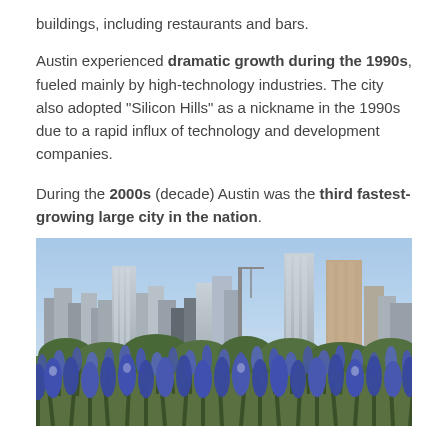buildings, including restaurants and bars.
Austin experienced dramatic growth during the 1990s, fueled mainly by high-technology industries. The city also adopted “Silicon Hills” as a nickname in the 1990s due to a rapid influx of technology and development companies.
During the 2000s (decade) Austin was the third fastest-growing large city in the nation.
[Figure (photo): Austin, Texas skyline with bluebonnets in the foreground. Multiple tall skyscrapers visible against a blue sky, with a field of blue and purple bluebonnet wildflowers in the foreground.]